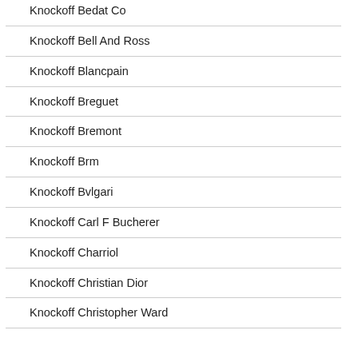Knockoff Bedat Co
Knockoff Bell And Ross
Knockoff Blancpain
Knockoff Breguet
Knockoff Bremont
Knockoff Brm
Knockoff Bvlgari
Knockoff Carl F Bucherer
Knockoff Charriol
Knockoff Christian Dior
Knockoff Christopher Ward